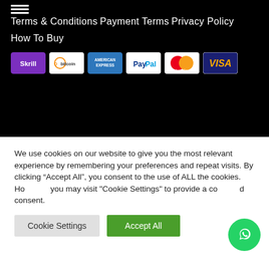Terms & Conditions
Payment Terms
Privacy Policy
How To Buy
[Figure (logo): Payment method logos: Skrill, Obitcoin, American Express, PayPal, MasterCard, VISA]
We use cookies on our website to give you the most relevant experience by remembering your preferences and repeat visits. By clicking “Accept All”, you consent to the use of ALL the cookies. However, you may visit "Cookie Settings" to provide a controlled consent.
Cookie Settings | Accept All